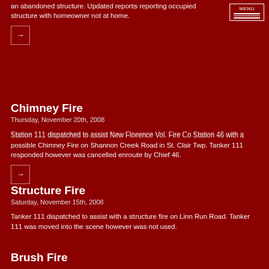an abandoned structure. Updated reports reporting occupied structure with homeowner not at home.
Chimney Fire
Thursday, November 20th, 2008
Station 111 dispatched to assist New Florence Vol. Fire Co Station 46 with a possible Chimney Fire on Shannon Creek Road in St. Clair Twp. Tanker 111 responded however was cancelled enroute by Chief 46.
Structure Fire
Saturday, November 15th, 2008
Tanker 111 dispatched to assist with a structure fire on Linn Run Road. Tanker 111 was moved into the scene however was not used.
Brush Fire